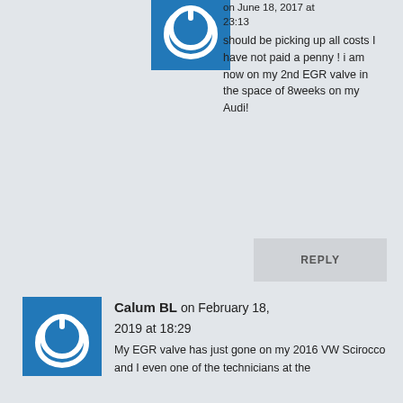[Figure (illustration): Blue square avatar with white power button/circular icon, partially visible at top]
on June 18, 2017 at 23:13
should be picking up all costs I have not paid a penny ! i am now on my 2nd EGR valve in the space of 8weeks on my Audi!
REPLY
[Figure (illustration): Blue square avatar with white power button/circular icon]
Calum BL on February 18, 2019 at 18:29
My EGR valve has just gone on my 2016 VW Scirocco and I even one of the technicians at the